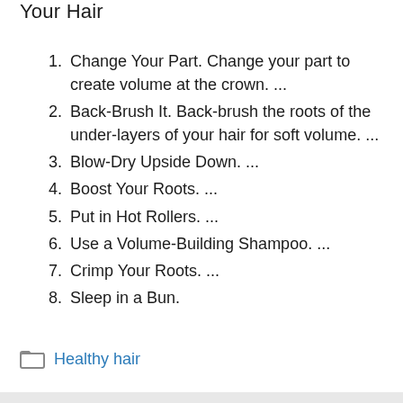Your Hair
Change Your Part. Change your part to create volume at the crown. ...
Back-Brush It. Back-brush the roots of the under-layers of your hair for soft volume. ...
Blow-Dry Upside Down. ...
Boost Your Roots. ...
Put in Hot Rollers. ...
Use a Volume-Building Shampoo. ...
Crimp Your Roots. ...
Sleep in a Bun.
Healthy hair